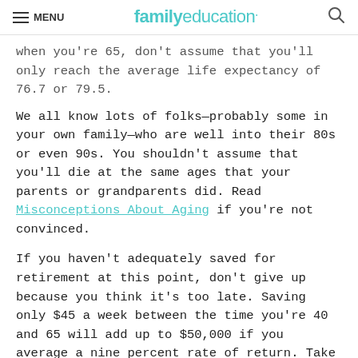MENU  familyeducation  [search]
when you're 65, don't assume that you'll only reach the average life expectancy of 76.7 or 79.5.
We all know lots of folks—probably some in your own family—who are well into their 80s or even 90s. You shouldn't assume that you'll die at the same ages that your parents or grandparents did. Read Misconceptions About Aging if you're not convinced.
If you haven't adequately saved for retirement at this point, don't give up because you think it's too late. Saving only $45 a week between the time you're 40 and 65 will add up to $50,000 if you average a nine percent rate of return. Take a minute to think of how you could save $45 a week. How hard could it be? Forty-five dollars is one or two meals a week in a restaurant. It's the blouse on sale in the department store that you like, but